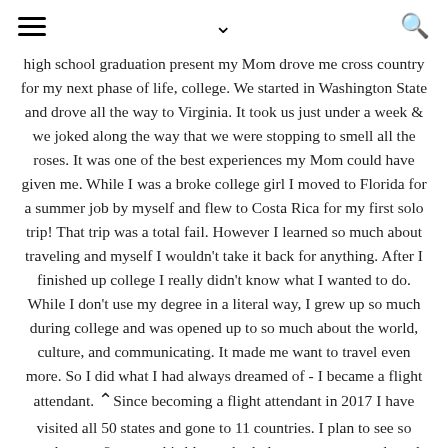≡  ∨  🔍
high school graduation present my Mom drove me cross country for my next phase of life, college. We started in Washington State and drove all the way to Virginia. It took us just under a week & we joked along the way that we were stopping to smell all the roses. It was one of the best experiences my Mom could have given me. While I was a broke college girl I moved to Florida for a summer job by myself and flew to Costa Rica for my first solo trip! That trip was a total fail. However I learned so much about traveling and myself I wouldn't take it back for anything. After I finished up college I really didn't know what I wanted to do. While I don't use my degree in a literal way, I grew up so much during college and was opened up to so much about the world, culture, and communicating. It made me want to travel even more. So I did what I had always dreamed of - I became a flight attendant. Since becoming a flight attendant in 2017 I have visited all 50 states and gone to 11 countries. I plan to see so much more & to use this blog to both document my travels and help inspire others to travel